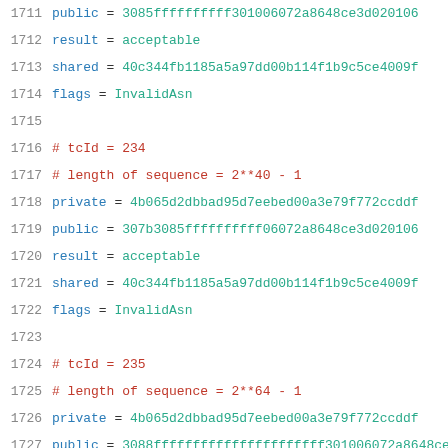1711    public = 3085ffffffffff301006072a8648ce3d020106
1712    result = acceptable
1713    shared = 40c344fb1185a5a97dd00b114f1b9c5ce4009f
1714    flags = InvalidAsn
1715
1716    # tcId = 234
1717    # length of sequence = 2**40 - 1
1718    private = 4b065d2dbbad95d7eebed00a3e79f772ccddf
1719    public = 307b3085ffffffffff06072a8648ce3d020106
1720    result = acceptable
1721    shared = 40c344fb1185a5a97dd00b114f1b9c5ce4009f
1722    flags = InvalidAsn
1723
1724    # tcId = 235
1725    # length of sequence = 2**64 - 1
1726    private = 4b065d2dbbad95d7eebed00a3e79f772ccddf
1727    public = 3088ffffffffffffffffffffff301006072a8648ce3d
1728    result = acceptable
1729    shared = 40c344fb1185a5a97dd00b114f1b9c5ce4009f
1730    flags = InvalidAsn
1731